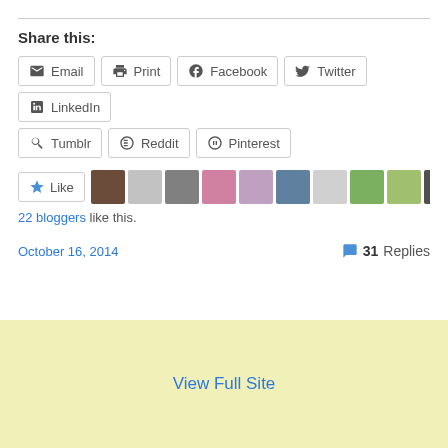Share this:
Email
Print
Facebook
Twitter
LinkedIn
Tumblr
Reddit
Pinterest
[Figure (other): Like button with star icon and row of 11 blogger avatar thumbnails]
22 bloggers like this.
October 16, 2014    31 Replies
View Full Site